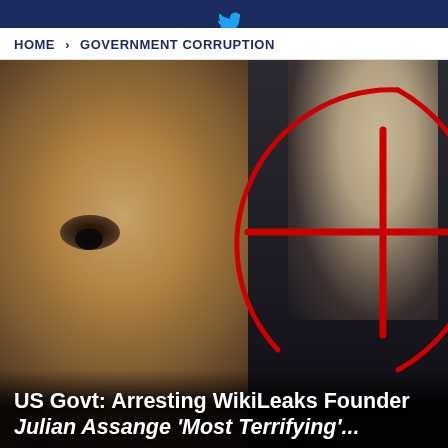HOME > GOVERNMENT CORRUPTION
[Figure (photo): Composite photo of Donald Trump in the foreground (close-up of face) and another man in the background on the right, overlaid with a red crosshair/target circle and crosshatch lines]
US Govt: Arresting WikiLeaks Founder Julian Assange 'Most Terrifying'...